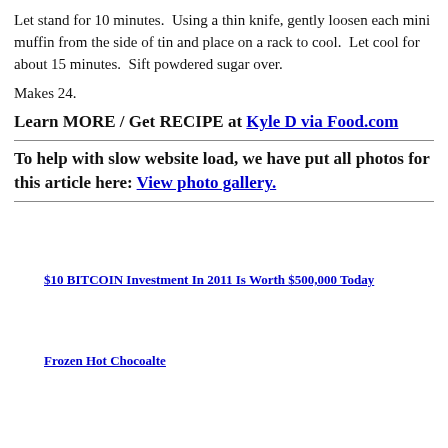Let stand for 10 minutes.  Using a thin knife, gently loosen each mini muffin from the side of tin and place on a rack to cool.  Let cool for about 15 minutes.  Sift powdered sugar over.
Makes 24.
Learn MORE / Get RECIPE at Kyle D via Food.com
To help with slow website load, we have put all photos for this article here: View photo gallery.
$10 BITCOIN Investment In 2011 Is Worth $500,000 Today
Frozen Hot Chocoalte